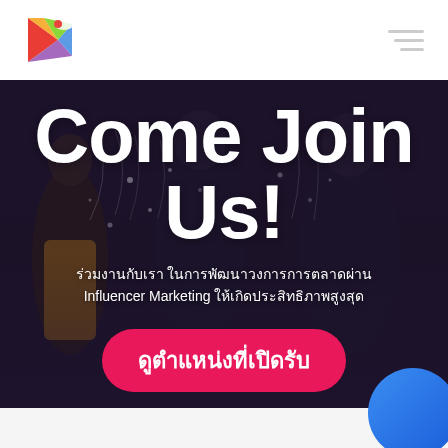[Figure (logo): Colorful K logo with play button triangle shape in red, yellow, green, and blue/purple gradient colors]
[Figure (photo): Dark background photo of people (young adults/students) at what appears to be an event or gathering, with sparklers or confetti effects]
Come Join Us!
ร่วมงานกับเรา ในการพัฒนาวงการการตลาดผ่าน Influencer Marketing ให้เกิดประสิทธิภาพสูงสุด
ดูตำแหน่งที่เปิดรับ